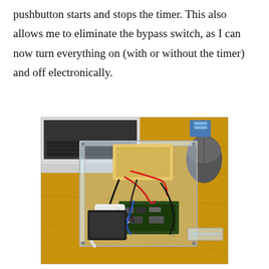pushbutton starts and stops the timer. This also allows me to eliminate the bypass switch, as I can now turn everything on (with or without the timer) and off electronically.
[Figure (photo): Photo of an electronics project: a clear acrylic enclosure containing circuit boards, wires (red, black, white, blue), and components, placed on a wooden workbench. A laptop and computer mouse are visible in the background.]